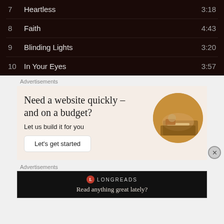| # | Title | Duration |
| --- | --- | --- |
| 7 | Heartless | 3:18 |
| 8 | Faith | 4:43 |
| 9 | Blinding Lights | 3:20 |
| 10 | In Your Eyes | 3:57 |
Advertisements
[Figure (illustration): Advertisement banner: 'Need a website quickly – and on a budget? Let us build it for you' with a 'Let's get started' button and a circular photo of hands on a laptop.]
Advertisements
[Figure (logo): Longreads advertisement banner with logo and tagline 'Read anything great lately?']